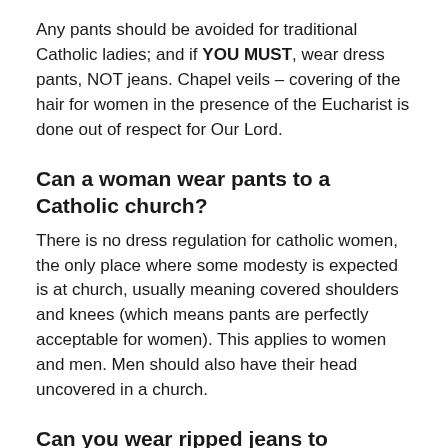Any pants should be avoided for traditional Catholic ladies; and if YOU MUST, wear dress pants, NOT jeans. Chapel veils – covering of the hair for women in the presence of the Eucharist is done out of respect for Our Lord.
Can a woman wear pants to a Catholic church?
There is no dress regulation for catholic women, the only place where some modesty is expected is at church, usually meaning covered shoulders and knees (which means pants are perfectly acceptable for women). This applies to women and men. Men should also have their head uncovered in a church.
Can you wear ripped jeans to Catholic church?
Ripped up jeans are a no-no. Since you are in the presence of God, you have to show respect as much as you can. If your question is can you wear jeans to church, yes you can. But make sure you don't wear crop tops, spaghetti straps or